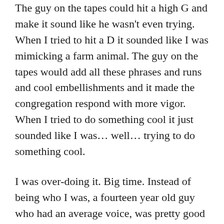The guy on the tapes could hit a high G and make it sound like he wasn't even trying. When I tried to hit a D it sounded like I was mimicking a farm animal. The guy on the tapes would add all these phrases and runs and cool embellishments and it made the congregation respond with more vigor. When I tried to do something cool it just sounded like I was… well… trying to do something cool.
I was over-doing it. Big time. Instead of being who I was, a fourteen year old guy who had an average voice, was pretty good on the guitar, and loved to worship, I was trying to be the guy I was listening to on my Walkman after school every day.